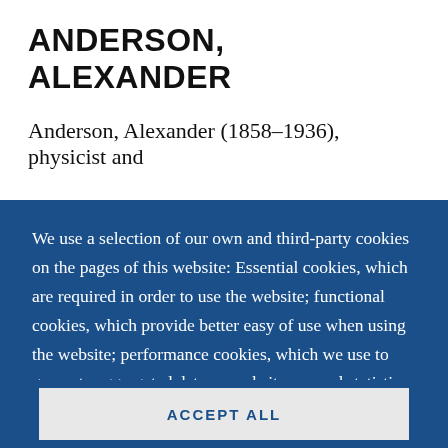ANDERSON, ALEXANDER
Anderson, Alexander (1858–1936), physicist and
We use a selection of our own and third-party cookies on the pages of this website: Essential cookies, which are required in order to use the website; functional cookies, which provide better easy of use when using the website; performance cookies, which we use to generate aggregated data on website use and statistics; and marketing cookies, which are used to display relevant content and advertising. If you choose "ACCEPT ALL", you consent to the use of all cookies. You can accept and
ACCEPT ALL